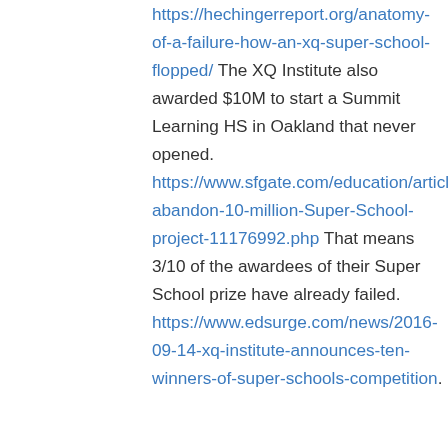https://hechingerreport.org/anatomy-of-a-failure-how-an-xq-super-school-flopped/ The XQ Institute also awarded $10M to start a Summit Learning HS in Oakland that never opened. https://www.sfgate.com/education/article/Backers-abandon-10-million-Super-School-project-11176992.php That means 3/10 of the awardees of their Super School prize have already failed. https://www.edsurge.com/news/2016-09-14-xq-institute-announces-ten-winners-of-super-schools-competition.
↪ Reply
Laura H. Chapman on August 12, 2019 at 10:53 am